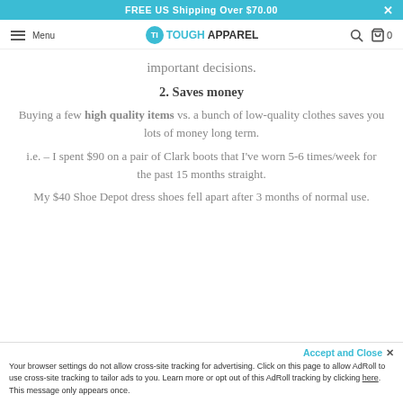FREE US Shipping Over $70.00
Menu | TOUGH APPAREL | 0
important decisions.
2. Saves money
Buying a few high quality items vs. a bunch of low-quality clothes saves you lots of money long term.
i.e. – I spent $90 on a pair of Clark boots that I've worn 5-6 times/week for the past 15 months straight.
My $40 Shoe Depot dress shoes fell apart after 3 months of normal use.
Accept and Close ✕ Your browser settings do not allow cross-site tracking for advertising. Click on this page to allow AdRoll to use cross-site tracking to tailor ads to you. Learn more or opt out of this AdRoll tracking by clicking here. This message only appears once.